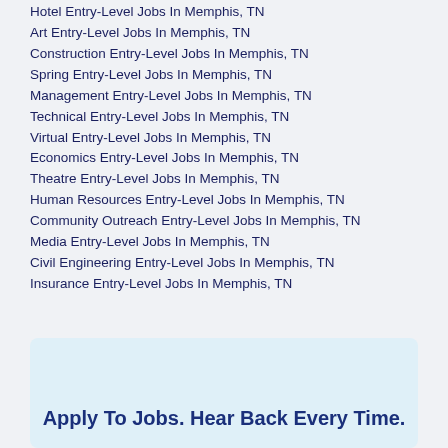Hotel Entry-Level Jobs In Memphis, TN
Art Entry-Level Jobs In Memphis, TN
Construction Entry-Level Jobs In Memphis, TN
Spring Entry-Level Jobs In Memphis, TN
Management Entry-Level Jobs In Memphis, TN
Technical Entry-Level Jobs In Memphis, TN
Virtual Entry-Level Jobs In Memphis, TN
Economics Entry-Level Jobs In Memphis, TN
Theatre Entry-Level Jobs In Memphis, TN
Human Resources Entry-Level Jobs In Memphis, TN
Community Outreach Entry-Level Jobs In Memphis, TN
Media Entry-Level Jobs In Memphis, TN
Civil Engineering Entry-Level Jobs In Memphis, TN
Insurance Entry-Level Jobs In Memphis, TN
Apply To Jobs. Hear Back Every Time.